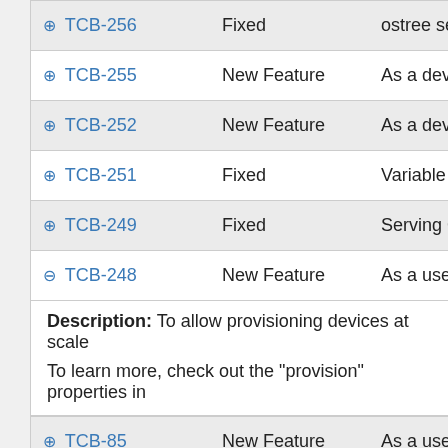| Key | Type | Summary |
| --- | --- | --- |
| TCB-256 | Fixed | ostree serve-cor… |
| TCB-255 | New Feature | As a developer, I… |
| TCB-252 | New Feature | As a developer, I… |
| TCB-251 | Fixed | Variable replacem… |
| TCB-249 | Fixed | Serving OSTree r… |
| TCB-248 | New Feature | As a user, I want t… |
| TCB-85 | New Feature | As a user, I want t… |
| TCB-209 | Fixed | TorizonCore Build… |
| TCB-177 | New Feature | As a developer, I… |
| TCB-115 | New Feature | As a user, I want t… |
Description: To allow provisioning devices at scale

To learn more, check out the "provision" properties in